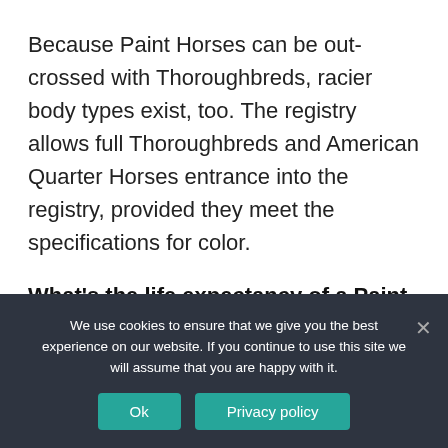Because Paint Horses can be out-crossed with Thoroughbreds, racier body types exist, too. The registry allows full Thoroughbreds and American Quarter Horses entrance into the registry, provided they meet the specifications for color.
What's the life expectancy of a Paint Horse?
Life Expectancy: 30 years Paint Horse History and Origins In the 1500s, Spanish explorers brought the
We use cookies to ensure that we give you the best experience on our website. If you continue to use this site we will assume that you are happy with it.